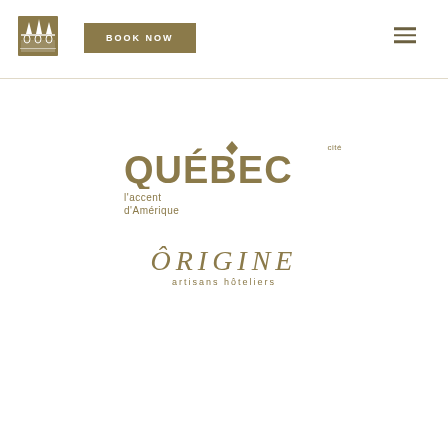[Figure (logo): Hotel logo with three spires and decorative base, golden/olive color]
[Figure (logo): Book Now button in golden/olive rectangular background with white text]
[Figure (logo): Hamburger menu icon with three horizontal lines in golden/olive color]
[Figure (logo): Québec Cité logo with accent symbol above the E, subtitle 'l'accent d'Amérique' in golden/olive color]
[Figure (logo): ÔRIGINE artisans hôteliers logo in golden/olive italic text]